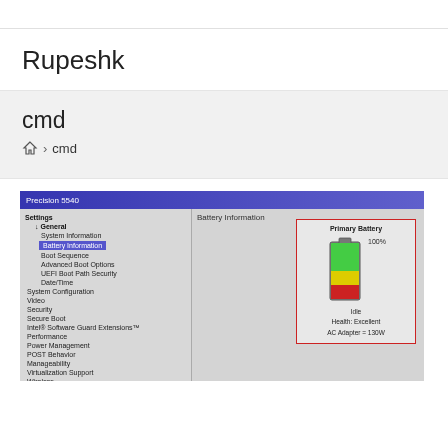Rupeshk
cmd
Home > cmd
[Figure (screenshot): Dell Precision 5540 BIOS setup screen showing Battery Information selected in left menu. Right panel shows Primary Battery with battery icon at 100%, status: Idle, Health: Excellent, AC Adapter = 130W. Red box highlights Primary Battery section. Bottom shows order battery link.]